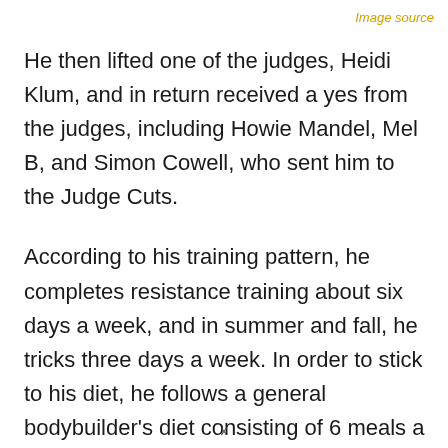Image source
He then lifted one of the judges, Heidi Klum, and in return received a yes from the judges, including Howie Mandel, Mel B, and Simon Cowell, who sent him to the Judge Cuts.
According to his training pattern, he completes resistance training about six days a week, and in summer and fall, he tricks three days a week. In order to stick to his diet, he follows a general bodybuilder's diet consisting of 6 meals a day and a daily PCF ratio
x